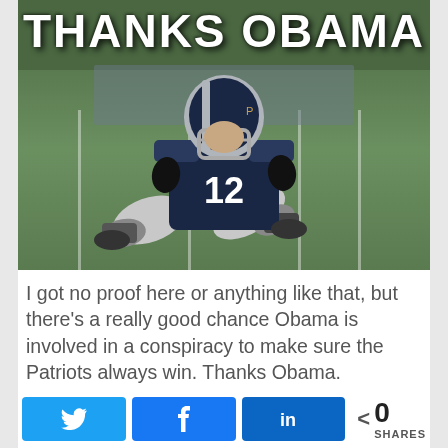[Figure (photo): Meme image showing a New England Patriots football player (wearing #12 jersey) sitting on the field, with bold white text overlay reading 'THANKS OBAMA']
I got no proof here or anything like that, but there's a really good chance Obama is involved in a conspiracy to make sure the Patriots always win. Thanks Obama. #ObamaGate
[Figure (other): Social share buttons: Twitter bird icon button (blue), Facebook f icon button (blue), LinkedIn 'in' icon button (dark blue), share count showing < 0 SHARES]